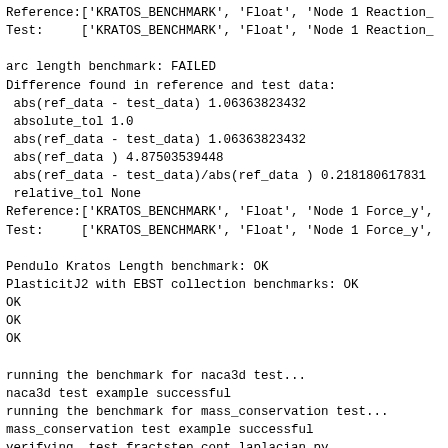Reference:['KRATOS_BENCHMARK', 'Float', 'Node 1 Reaction_
Test:     ['KRATOS_BENCHMARK', 'Float', 'Node 1 Reaction_

arc length benchmark: FAILED
Difference found in reference and test data:
 abs(ref_data - test_data) 1.06363823432
 absolute_tol 1.0
 abs(ref_data - test_data) 1.06363823432
 abs(ref_data ) 4.87503539448
 abs(ref_data - test_data)/abs(ref_data ) 0.218180617831
 relative_tol None
Reference:['KRATOS_BENCHMARK', 'Float', 'Node 1 Force_y',
Test:     ['KRATOS_BENCHMARK', 'Float', 'Node 1 Force_y',

Pendulo Kratos Length benchmark: OK
PlasticitJ2 with EBST collection benchmarks: OK
OK
OK
OK

running the benchmark for naca3d test...
naca3d test example successful
running the benchmark for mass_conservation test...
mass_conservation test example successful
verifying  test_fractstep_cont_laplacian.py...
test_fractstep_cont_laplacian example successful
verifying  test_fractstep_discrete_laplacian.py...
test_fractstep_discrete_laplacian example successful
verifying  test_fractstep_cont_laplacian.py...3D
test_fractstep_cont_laplacian 3D example successful
Running cylinder.py...